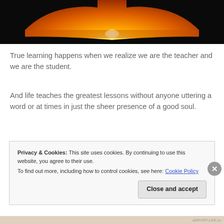[Figure (photo): Sunset photograph viewed through a silhouetted rock arch or cave opening, with vibrant orange and yellow sky and sun near the horizon]
True learning happens when we realize we are the teacher and we are the student.
And life teaches the greatest lessons without anyone uttering a word or at times in just the sheer presence of a good soul.
Privacy & Cookies: This site uses cookies. By continuing to use this website, you agree to their use.
To find out more, including how to control cookies, see here: Cookie Policy
Close and accept